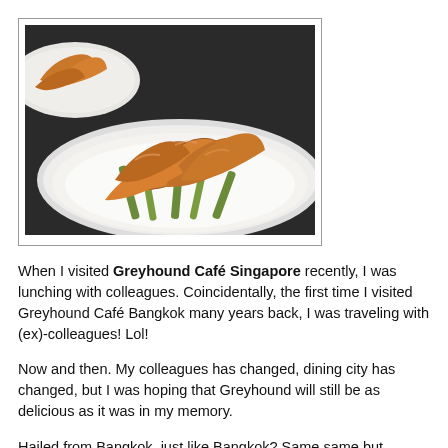[Figure (photo): A plate of golden-brown fried chicken wings served on a white plate with green lemongrass stalks, with another plate of wings visible in the background on a dark surface.]
When I visited Greyhound Café Singapore recently, I was lunching with colleagues. Coincidentally, the first time I visited Greyhound Café Bangkok many years back, I was traveling with (ex)-colleagues! Lol!
Now and then. My colleagues has changed, dining city has changed, but I was hoping that Greyhound will still be as delicious as it was in my memory.
Hailed from Bangkok, just like Bangkok? Same same but